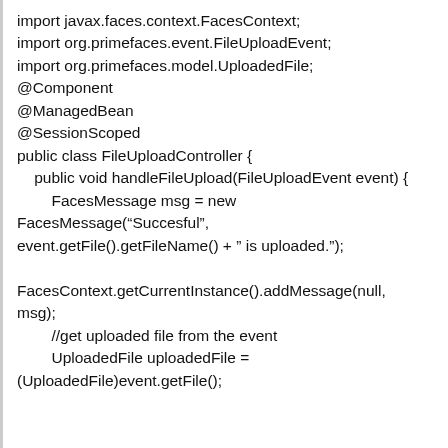import javax.faces.context.FacesContext;
import org.primefaces.event.FileUploadEvent;
import org.primefaces.model.UploadedFile;
@Component
@ManagedBean
@SessionScoped
public class FileUploadController {
    public void handleFileUpload(FileUploadEvent event) {
        FacesMessage msg = new FacesMessage(“Succesful”, event.getFile().getFileName() + ” is uploaded.”);

        FacesContext.getCurrentInstance().addMessage(null, msg);
        //get uploaded file from the event
        UploadedFile uploadedFile = (UploadedFile)event.getFile();